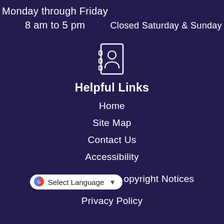Monday through Friday
8 am to 5 pm
Closed Saturday & Sunday
[Figure (illustration): Contact book / address book icon in white outline style]
Helpful Links
Home
Site Map
Contact Us
Accessibility
Copyright Notices
Privacy Policy